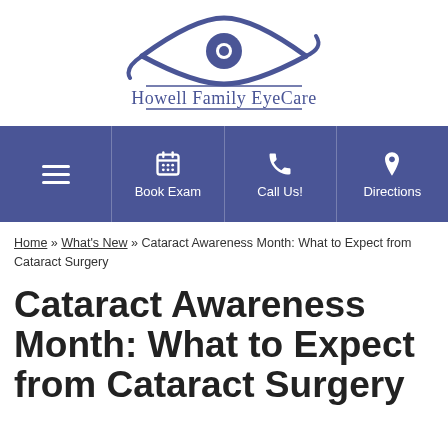[Figure (logo): Howell Family EyeCare logo with stylized eye graphic above the text]
[Figure (infographic): Navigation bar with four blue buttons: hamburger menu, Book Exam (calendar icon), Call Us! (phone icon), Directions (pin icon)]
Home » What's New » Cataract Awareness Month: What to Expect from Cataract Surgery
Cataract Awareness Month: What to Expect from Cataract Surgery